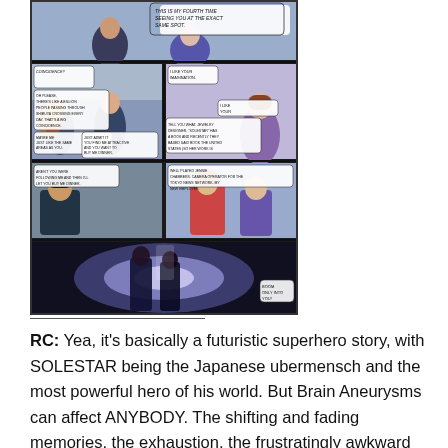[Figure (illustration): A manga/comic page showing multiple panels with characters in conversation and action scenes. Characters appear to be in a futuristic or superhero setting with speech bubbles containing dialogue.]
RC: Yea, it's basically a futuristic superhero story, with SOLESTAR being the Japanese ubermensch and the most powerful hero of his world. But Brain Aneurysms can affect ANYBODY. The shifting and fading memories, the exhaustion, the frustratingly awkward embarrassment of it all, it really adds a big dose of humanity to the conversation of superheroes.